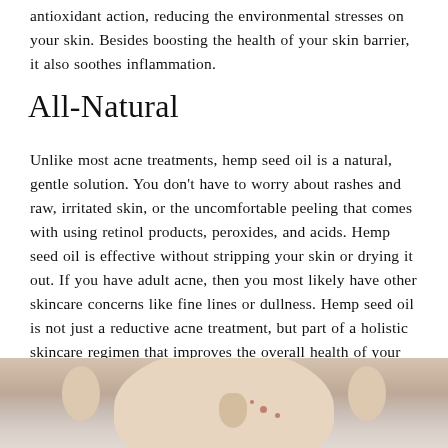antioxidant action, reducing the environmental stresses on your skin. Besides boosting the health of your skin barrier, it also soothes inflammation.
All-Natural
Unlike most acne treatments, hemp seed oil is a natural, gentle solution. You don’t have to worry about rashes and raw, irritated skin, or the uncomfortable peeling that comes with using retinol products, peroxides, and acids. Hemp seed oil is effective without stripping your skin or drying it out. If you have adult acne, then you most likely have other skincare concerns like fine lines or dullness. Hemp seed oil is not just a reductive acne treatment, but part of a holistic skincare regimen that improves the overall health of your skin.
[Figure (photo): Close-up photo of a person's face showing skin with some acne, visible ear, nose, and cheek area]